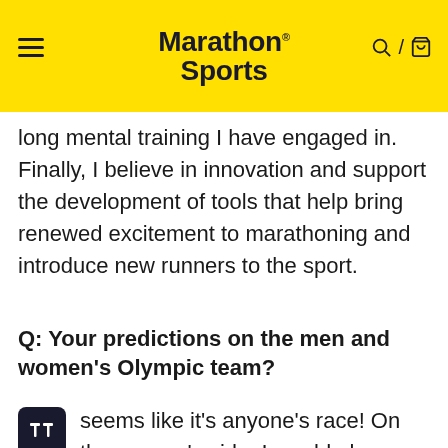Marathon Sports
long mental training I have engaged in. Finally, I believe in innovation and support the development of tools that help bring renewed excitement to marathoning and introduce new runners to the sport.
Q: Your predictions on the men and women's Olympic team?
seems like it's anyone's race! On the women's side, I would place my money on Des Linden and Emily Sisson but I have no idea who the third will be! I'm going to be honest, I have not paid attention